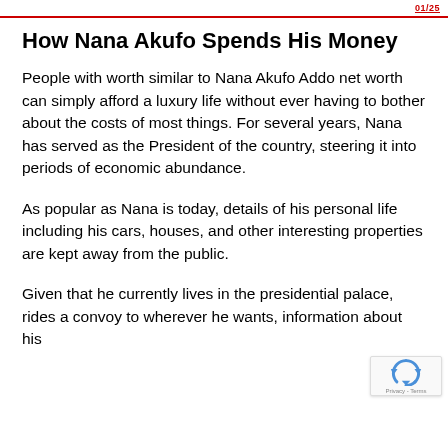01/25
How Nana Akufo Spends His Money
People with worth similar to Nana Akufo Addo net worth can simply afford a luxury life without ever having to bother about the costs of most things. For several years, Nana has served as the President of the country, steering it into periods of economic abundance.
As popular as Nana is today, details of his personal life including his cars, houses, and other interesting properties are kept away from the public.
Given that he currently lives in the presidential palace, rides a convoy to wherever he wants, information about his